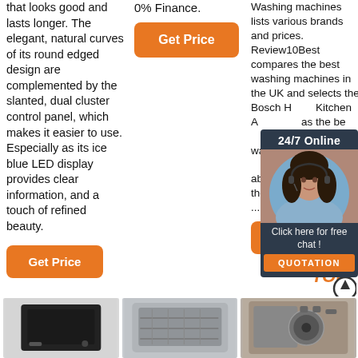that looks good and lasts longer. The elegant, natural curves of its round edged design are complemented by the slanted, dual cluster control panel, which makes it easier to use. Especially as its ice blue LED display provides clear information, and a touch of refined beauty.
Get Price
0% Finance.
Get Price
Washing machines lists various brands and prices. Review10Best compares the best washing machines in the UK and selects the Bosch Home Kitchen Appliance as the best washing machine washing buying guide you can read more about the reviews of the different washing ...
[Figure (photo): Customer service agent woman with headset, 24/7 Online chat popup with QUOTATION button]
Get Price
[Figure (photo): Product image 1 - dishwasher or appliance, dark]
[Figure (photo): Product image 2 - dishwasher or washing machine, front view]
[Figure (photo): Product image 3 - washing machine or appliance]